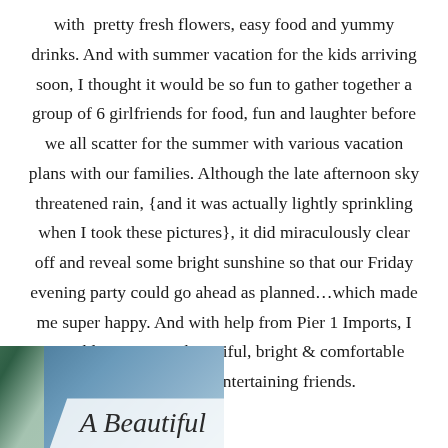with pretty fresh flowers, easy food and yummy drinks. And with summer vacation for the kids arriving soon, I thought it would be so fun to gather together a group of 6 girlfriends for food, fun and laughter before we all scatter for the summer with various vacation plans with our families. Although the late afternoon sky threatened rain, {and it was actually lightly sprinkling when I took these pictures}, it did miraculously clear off and reveal some bright sunshine so that our Friday evening party could go ahead as planned…which made me super happy. And with help from Pier 1 Imports, I was able to create a beautiful, bright & comfortable outdoor oasis for entertaining friends.
[Figure (photo): Photo of flowers (blue and green hues) with a cursive text overlay reading 'A Beautiful' on a light background panel in the lower right.]